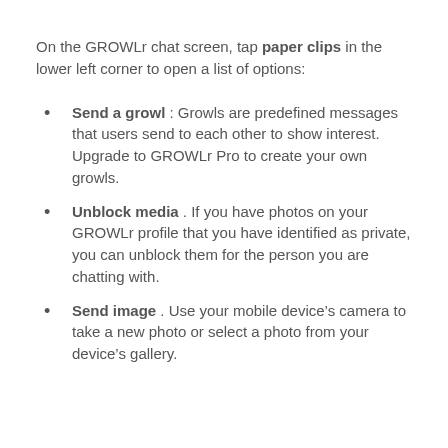On the GROWLr chat screen, tap paper clips in the lower left corner to open a list of options:
Send a growl : Growls are predefined messages that users send to each other to show interest. Upgrade to GROWLr Pro to create your own growls.
Unblock media . If you have photos on your GROWLr profile that you have identified as private, you can unblock them for the person you are chatting with.
Send image . Use your mobile device’s camera to take a new photo or select a photo from your device’s gallery.